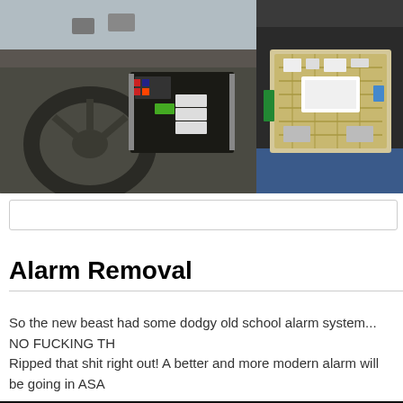[Figure (photo): Two photos side by side showing car dashboard disassembly. Left photo shows steering wheel and exposed dashboard electronics/wiring harness in a vehicle interior. Right photo shows a person holding a removed ECU or electronic control module with circuit board visible.]
Alarm Removal
So the new beast had some dodgy old school alarm system... NO FUCKING TH
Ripped that shit right out! A better and more modern alarm will be going in ASA